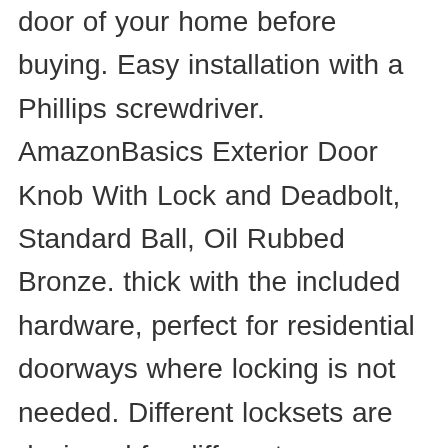door of your home before buying. Easy installation with a Phillips screwdriver. AmazonBasics Exterior Door Knob With Lock and Deadbolt, Standard Ball, Oil Rubbed Bronze. thick with the included hardware, perfect for residential doorways where locking is not needed. Different locksets are designed for different applications. This passage knob/lever is best used on interior hall and closet applications where no locking is required, so the knob/lever is always free to turn. A lifetime ensures the durability of this ... More Buying Choices $19.48 (2 used & new offers) AmazonBasics Closet Door Knob, Round, Oil Rubbed ... FREE Shipping. Toggle